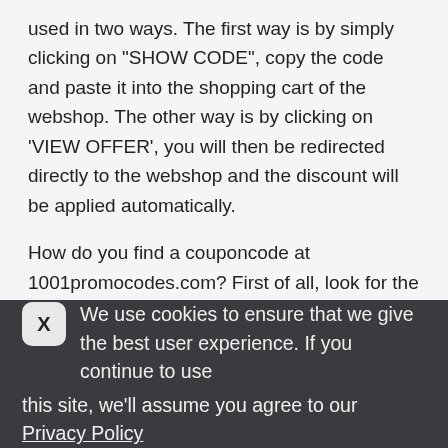used in two ways. The first way is by simply clicking on "SHOW CODE", copy the code and paste it into the shopping cart of the webshop. The other way is by clicking on 'VIEW OFFER', you will then be redirected directly to the webshop and the discount will be applied automatically.
How do you find a couponcode at 1001promocodes.com? First of all, look for the desired store in the search bar at the top of this page. Are you looking for a particular product or brand? Then you can type it in the search bar. You can also find your desired webshop in our "SHOPS A-Z" or "CATEGORY" overviews. If you've come to our webshop
We use cookies to ensure that we give the best user experience. If you continue to use this site, we'll assume you agree to our Privacy Policy